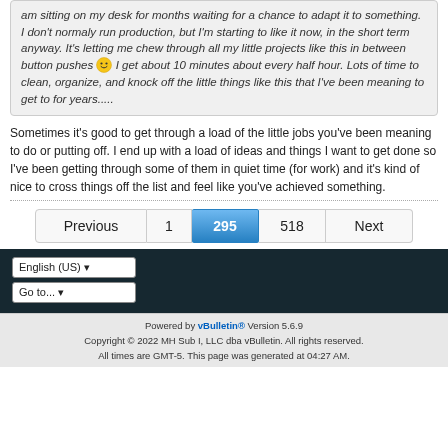am sitting on my desk for months waiting for a chance to adapt it to something. I don't normaly run production, but I'm starting to like it now, in the short term anyway. It's letting me chew through all my little projects like this in between button pushes 🙂 I get about 10 minutes about every half hour. Lots of time to clean, organize, and knock off the little things like this that I've been meaning to get to for years.....
Sometimes it's good to get through a load of the little jobs you've been meaning to do or putting off. I end up with a load of ideas and things I want to get done so I've been getting through some of them in quiet time (for work) and it's kind of nice to cross things off the list and feel like you've achieved something.
Previous 1 295 518 Next
English (US) Go to...
Powered by vBulletin® Version 5.6.9 Copyright © 2022 MH Sub I, LLC dba vBulletin. All rights reserved. All times are GMT-5. This page was generated at 04:27 AM.